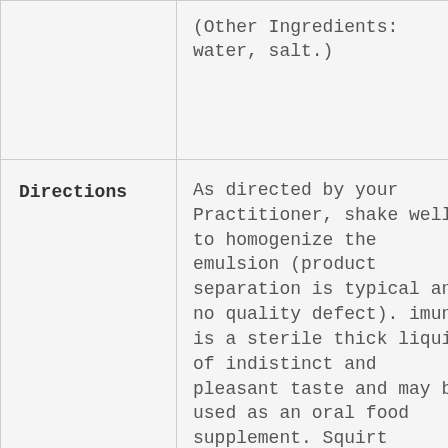|  | (Other Ingredients: water, salt.) |
| Directions | As directed by your Practitioner, shake well to homogenize the emulsion (product separation is typical and no quality defect). imuno is a sterile thick liquid of indistinct and pleasant taste and may be used as an oral food supplement. Squirt required dose into mouth. Hold in mouth for 30 |